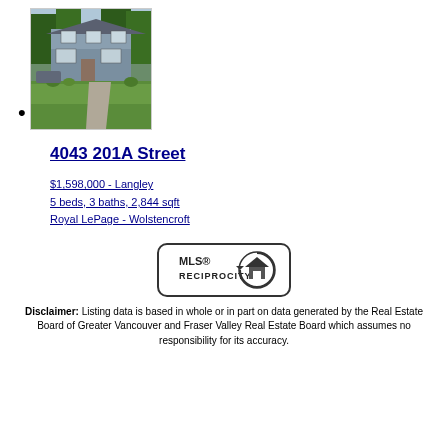[Figure (photo): Exterior photo of a two-story house with green lawn, driveway, and trees in background]
4043 201A Street
$1,598,000 - Langley
5 beds, 3 baths, 2,844 sqft
Royal LePage - Wolstencroft
[Figure (logo): MLS Reciprocity logo badge]
Disclaimer: Listing data is based in whole or in part on data generated by the Real Estate Board of Greater Vancouver and Fraser Valley Real Estate Board which assumes no responsibility for its accuracy.